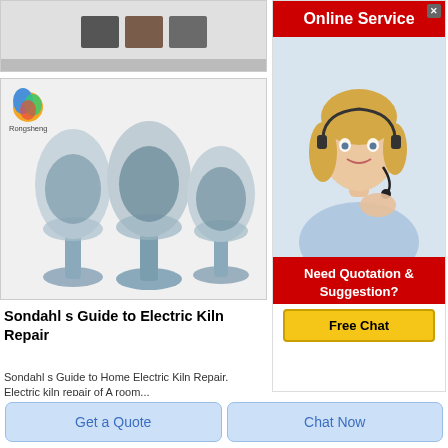[Figure (photo): Three dark-colored material swatches (squares) on light background — top product strip image]
[Figure (photo): Three glass/plastic vessel-shaped containers filled with blue-gray granular material, on white background. Rongsheng logo and brand name visible top-left.]
Sondahl s Guide to Electric Kiln Repair
Sondahl s Guide to Home Electric Kiln Repair. Electric kiln repair of A room...
[Figure (screenshot): Online Service advertisement banner. Red header with 'Online Service', photo of smiling blonde woman with headset, red footer with 'Need Quotation & Suggestion?' and yellow 'Free Chat' button. Close X button top right.]
Get a Quote
Chat Now